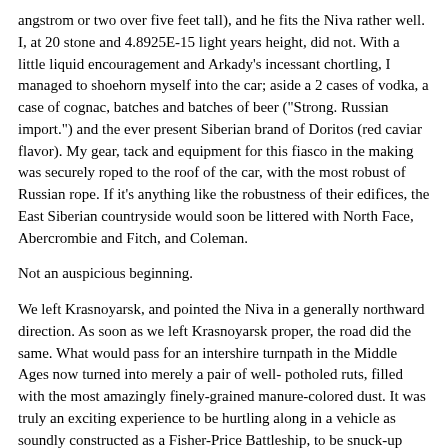angstrom or two over five feet tall), and he fits the Niva rather well. I, at 20 stone and 4.8925E-15 light years height, did not. With a little liquid encouragement and Arkady's incessant chortling, I managed to shoehorn myself into the car; aside a 2 cases of vodka, a case of cognac, batches and batches of beer ("Strong. Russian import.") and the ever present Siberian brand of Doritos (red caviar flavor). My gear, tack and equipment for this fiasco in the making was securely roped to the roof of the car, with the most robust of Russian rope. If it's anything like the robustness of their edifices, the East Siberian countryside would soon be littered with North Face, Abercrombie and Fitch, and Coleman.
Not an auspicious beginning.
We left Krasnoyarsk, and pointed the Niva in a generally northward direction. As soon as we left Krasnoyarsk proper, the road did the same. What would pass for an intershire turnpath in the Middle Ages now turned into merely a pair of well- potholed ruts, filled with the most amazingly finely-grained manure-colored dust. It was truly an exciting experience to be hurtling along in a vehicle as soundly constructed as a Fisher-Price Battleship, to be snuck-up upon by 28-wheelers loaded with pulp wood and piloted by drivers getting paid by the load. What would be the cause of either a multiple fatality accident or impromptu gunfight in Houston, is merely the way these characters, to loosely use the word, drive. "Careen" is more appropriate. We spent more time